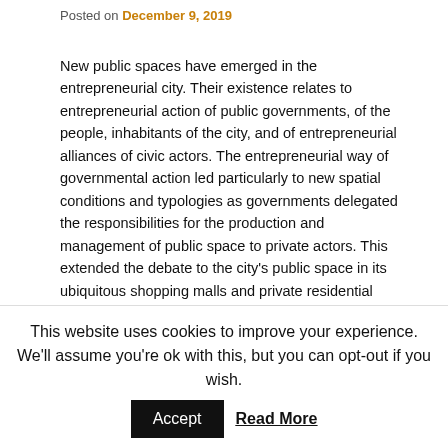Posted on December 9, 2019
New public spaces have emerged in the entrepreneurial city. Their existence relates to entrepreneurial action of public governments, of the people, inhabitants of the city, and of entrepreneurial alliances of civic actors. The entrepreneurial way of governmental action led particularly to new spatial conditions and typologies as governments delegated the responsibilities for the production and management of public space to private actors. This extended the debate to the city's public space in its ubiquitous shopping malls and private residential estates. Secondly, the opportunities which the city offers for the entrepreneurial contributions of general citizens, migrants, and refugees, relate to its public spaces too. Characterised by the proximity of mixed land-uses and
This website uses cookies to improve your experience. We'll assume you're ok with this, but you can opt-out if you wish.
Accept
Read More